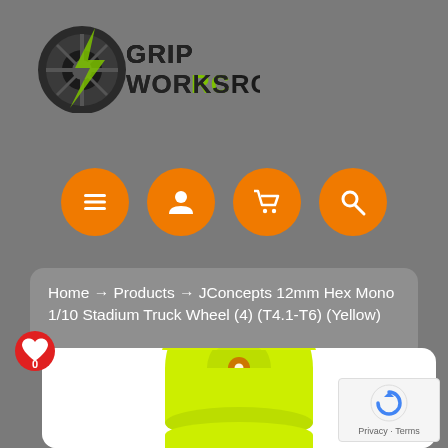[Figure (logo): GripWorksRC logo — a stylized wheel/tire with lightning bolt and text GRIPWORKSRC in black and green on grey background]
[Figure (infographic): Four orange circular navigation buttons: hamburger menu, user/person icon, shopping cart icon, and search/magnifying glass icon]
Home → Products → JConcepts 12mm Hex Mono 1/10 Stadium Truck Wheel (4) (T4.1-T6) (Yellow)
[Figure (photo): Yellow RC truck wheels stacked, product photo on white background — JConcepts 12mm Hex Mono 1/10 Stadium Truck Wheel (4) (T4.1-T6) (Yellow)]
[Figure (logo): Google reCAPTCHA badge with Privacy and Terms links]